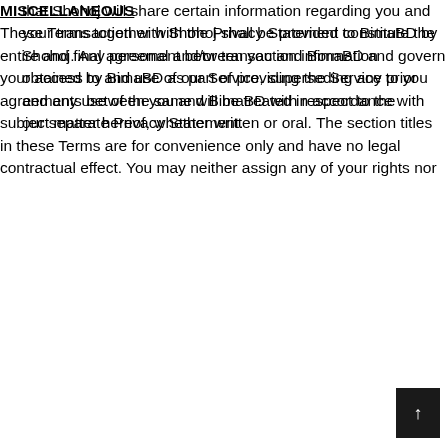that Shohoj will share certain information regarding you and your transaction with Shohoj shall be provided to BimaBD by Shohoj. Any personal and/or transaction information obtained by BimaBD as part of providing the Service to you and any use of the same will be treated in accordance with our separate Privacy Statement.
MISCELLANEOUS
These Terms together with the Privacy Statement constitute the entire and final agreement between you and BimaBD and govern your access to and use of our Service, superseding any prior agreements between you and BimaBD with respect to the subject matter hereof, whether written or oral. The section titles in these Terms are for convenience only and have no legal contractual effect. You may neither assign any of your rights nor